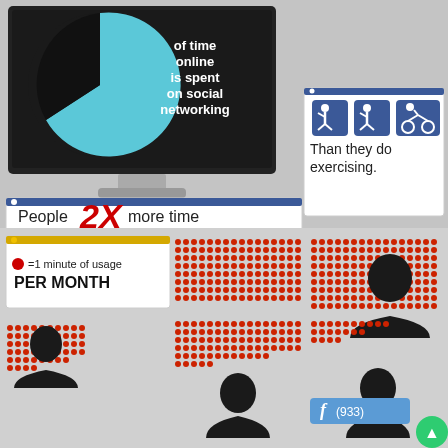[Figure (infographic): Monitor with pie chart showing time online spent on social networking]
of time online is spent on social networking
[Figure (infographic): Browser window with Facebook stat: People spend 2X more time on Facebook]
[Figure (infographic): Browser window with exercise icons: Than they do exercising.]
[Figure (infographic): Legend box: red dot = 1 minute of usage PER MONTH, with dot matrices representing social media usage and silhouettes for different platforms]
●=1 minute of usage PER MONTH
f (933)